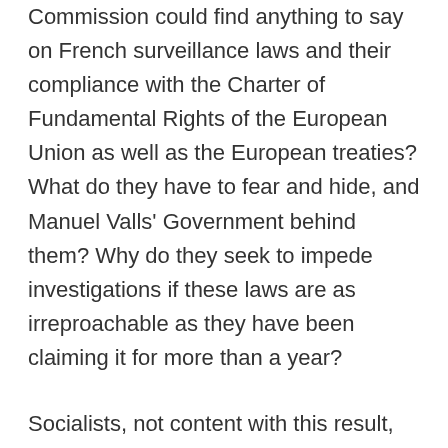Commission could find anything to say on French surveillance laws and their compliance with the Charter of Fundamental Rights of the European Union as well as the European treaties? What do they have to fear and hide, and Manuel Valls' Government behind them? Why do they seek to impede investigations if these laws are as irreproachable as they have been claiming it for more than a year?
Socialists, not content with this result, have also managed to avoid any reference to the International Surveillance bill, by rejecting amendment 2 proposed by liberals. This amendment expressed concern regarding